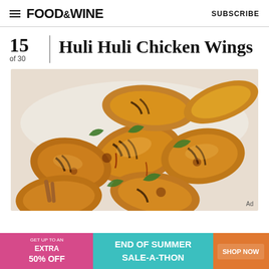FOOD&WINE  SUBSCRIBE
15 of 30  Huli Huli Chicken Wings
[Figure (photo): Grilled Huli Huli chicken wings with char marks and green herb garnish on a white surface]
[Figure (infographic): Advertisement banner: GET UP TO AN EXTRA 50% OFF — END OF SUMMER SALE-A-THON — SHOP NOW button on teal/orange background]